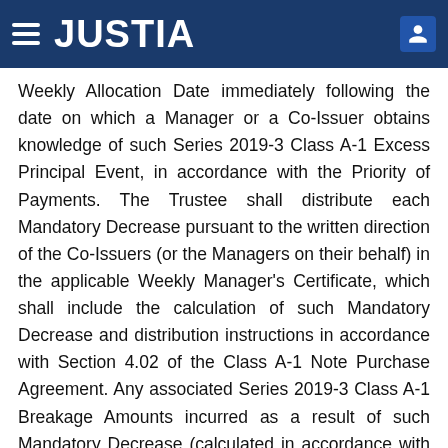JUSTIA
Weekly Allocation Date immediately following the date on which a Manager or a Co-Issuer obtains knowledge of such Series 2019-3 Class A-1 Excess Principal Event, in accordance with the Priority of Payments. The Trustee shall distribute each Mandatory Decrease pursuant to the written direction of the Co-Issuers (or the Managers on their behalf) in the applicable Weekly Manager's Certificate, which shall include the calculation of such Mandatory Decrease and distribution instructions in accordance with Section 4.02 of the Class A-1 Note Purchase Agreement. Any associated Series 2019-3 Class A-1 Breakage Amounts incurred as a result of such Mandatory Decrease (calculated in accordance with the Class A-1 Note Purchase Agreement) shall be deposited into the applicable Collection Accounts for allocation as Series 2019-3 Class A-1 Notes Other Amounts pursuant to the Priority of Payments on the Weekly Allocation